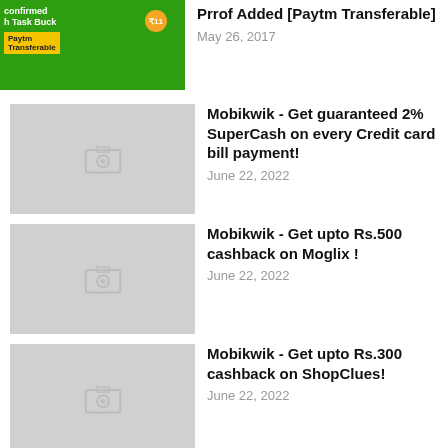[Figure (screenshot): Green themed article thumbnail with Paytm/Task Buck branding]
Prrof Added [Paytm Transferable]
May 26, 2017
[Figure (photo): Gray placeholder image with camera icon]
Mobikwik - Get guaranteed 2% SuperCash on every Credit card bill payment!
June 22, 2022
[Figure (photo): Gray placeholder image with camera icon]
Mobikwik - Get upto Rs.500 cashback on Moglix !
June 22, 2022
[Figure (photo): Gray placeholder image with camera icon]
Mobikwik - Get upto Rs.300 cashback on ShopClues!
June 22, 2022
CATEGORIES
Earn Money Online
Amazon Latest Coupons Offers
Cashback
Free Paytm Cash
Paytm Latest Coupons Offers
Amazon pay